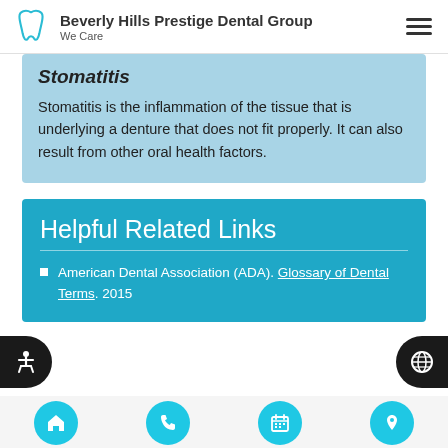Beverly Hills Prestige Dental Group — We Care
Stomatitis
Stomatitis is the inflammation of the tissue that is underlying a denture that does not fit properly. It can also result from other oral health factors.
Helpful Related Links
American Dental Association (ADA). Glossary of Dental Terms. 2015
Navigation icons: home, phone, calendar, location